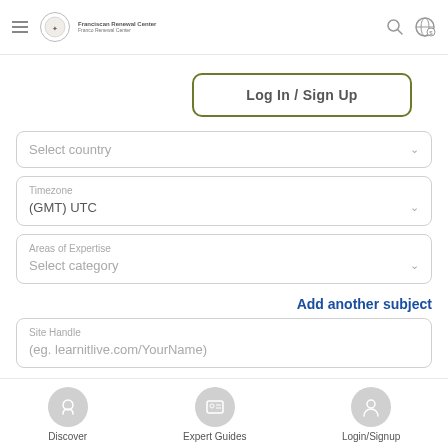[Figure (screenshot): Top navigation bar with hamburger menu, Franciscan Renewal Center logo, search icon, and globe/settings icon]
Log In / Sign Up
Select country
Timezone
(GMT) UTC
Areas of Expertise
Select category
Add another subject
Site Handle
(eg. learnitlive.com/YourName)
[Figure (screenshot): Bottom navigation bar with Discover, Expert Guides, and Login/Signup icons and labels]